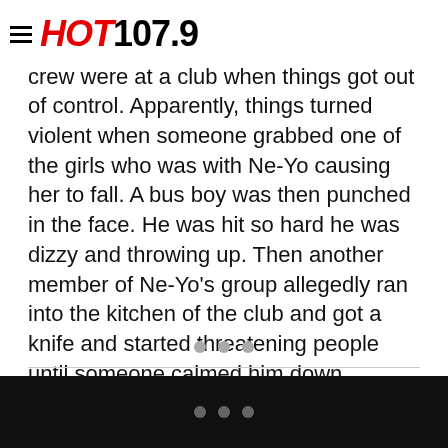HOT 107.9
atlantablackstar.com, Ne-Yo and his crew were at a club when things got out of control. Apparently, things turned violent when someone grabbed one of the girls who was with Ne-Yo causing her to fall. A bus boy was then punched in the face. He was hit so hard he was dizzy and throwing up. Then another member of Ne-Yo's group allegedly ran into the kitchen of the club and got a knife and started threatening people until someone calmed him down.